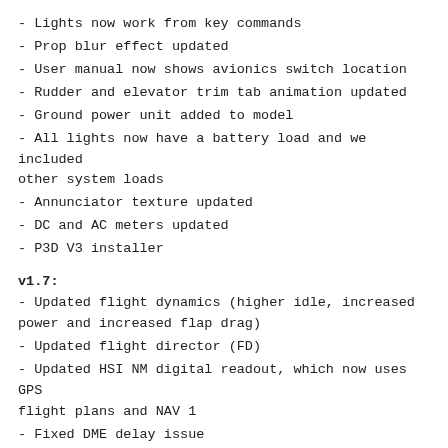- Lights now work from key commands
- Prop blur effect updated
- User manual now shows avionics switch location
- Rudder and elevator trim tab animation updated
- Ground power unit added to model
- All lights now have a battery load and we included other system loads
- Annunciator texture updated
- DC and AC meters updated
- P3D V3 installer
v1.7:
- Updated flight dynamics (higher idle, increased power and increased flap drag)
- Updated flight director (FD)
- Updated HSI NM digital readout, which now uses GPS flight plans and NAV 1
- Fixed DME delay issue
- Beacon will now flash, using a new custom effect to match the rotating speed for better visuals